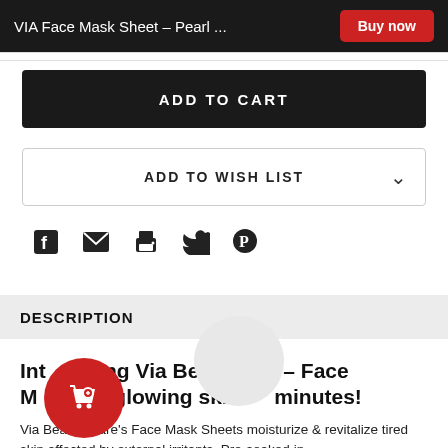VIA Face Mask Sheet – Pearl ...
ADD TO CART
ADD TO WISH LIST
[Figure (infographic): Social sharing icons: Facebook, Email, Print, Twitter, Pinterest]
DESCRIPTION
Introducing Via Beauty – Face Mask Get glowing skin in 10 minutes!
Via Beauty Care's Face Mask Sheets moisturize & revitalize tired skin affected by external irritants. Pre-soaked in